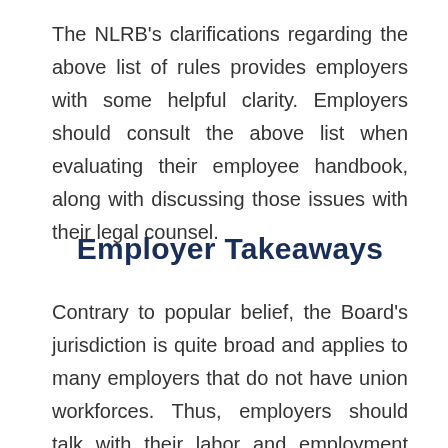The NLRB's clarifications regarding the above list of rules provides employers with some helpful clarity. Employers should consult the above list when evaluating their employee handbook, along with discussing those issues with their legal counsel.
Employer Takeaways
Contrary to popular belief, the Board's jurisdiction is quite broad and applies to many employers that do not have union workforces. Thus, employers should talk with their labor and employment attorneys about what policies and procedures need to be implemented to avoid violating the